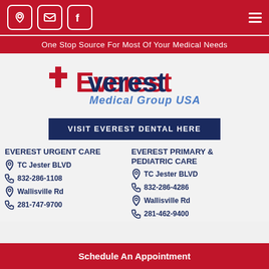Navigation icons: location, email, facebook, hamburger menu
One Stop Source For Most Of Your Medical Needs
[Figure (logo): Everest Medical Group USA logo with red cross and stylized text]
VISIT EVEREST DENTAL HERE
EVEREST URGENT CARE
TC Jester BLVD
832-286-1108
Wallisville Rd
281-747-9700
EVEREST PRIMARY & PEDIATRIC CARE
TC Jester BLVD
832-286-4286
Wallisville Rd
281-462-9400
Schedule An Appointment